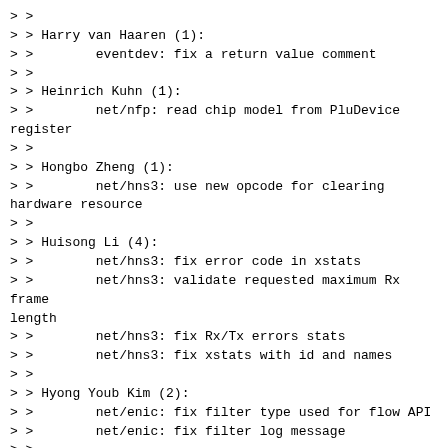> >
> > Harry van Haaren (1):
> >        eventdev: fix a return value comment
> >
> > Heinrich Kuhn (1):
> >        net/nfp: read chip model from PluDevice register
> >
> > Hongbo Zheng (1):
> >        net/hns3: use new opcode for clearing hardware resource
> >
> > Huisong Li (4):
> >        net/hns3: fix error code in xstats
> >        net/hns3: validate requested maximum Rx frame length
> >        net/hns3: fix Rx/Tx errors stats
> >        net/hns3: fix xstats with id and names
> >
> > Hyong Youb Kim (2):
> >        net/enic: fix filter type used for flow API
> >        net/enic: fix filter log message
> >
> > Ido Segev (1):
> >        net/ena: flush Rx buffers memory pool cache
> >
> > Igor Ryzhov (1):
> >        net/i40e: fix stats counters
> >
> > Ivan Malov (1):